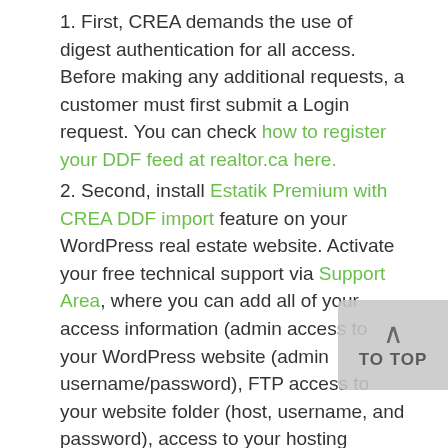1. First, CREA demands the use of digest authentication for all access. Before making any additional requests, a customer must first submit a Login request. You can check how to register your DDF feed at realtor.ca here.
2. Second, install Estatik Premium with CREA DDF import feature on your WordPress real estate website. Activate your free technical support via Support Area, where you can add all of your access information (admin access to your WordPress website (admin username/password), FTP access to your website folder (host, username, and password), access to your hosting account or cPanel. This access is required for our team to make complete setup.
3. Fill out the MLS Fields Setup form sent by Estatik Team. After receiving the form, our staff will be ready to begin working.
In the following instances, we are unable to provide the service in its entirety:
- Whether the consumer doesn't reply to our emails: